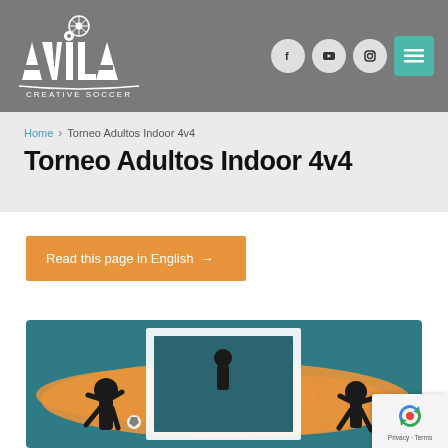Avila Creative Soccer — website header with logo and social icons
Home > Torneo Adultos Indoor 4v4
Torneo Adultos Indoor 4v4
Read this page in English →
[Figure (illustration): Soccer tournament promotional image with teal/blue background and orange paint brushstroke, silhouettes of soccer players, framed with a white border]